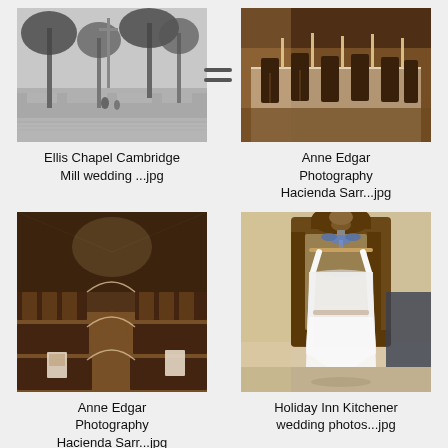[Figure (photo): Black and white photo of Ellis Chapel Cambridge Mill wedding venue exterior with trees]
Ellis Chapel Cambridge Mill wedding ...jpg
[Figure (photo): Sepia-toned photo of Anne Edgar Photography Hacienda Sarr venue dining room with chairs]
Anne Edgar Photography Hacienda Sarr...jpg
[Figure (photo): Sepia-toned photo of Anne Edgar Photography Hacienda Sarr wedding aisle with chairs decorated with ribbons]
Anne Edgar Photography Hacienda Sarr...jpg
[Figure (photo): Photo of a white wedding dress hanging on an ornate wooden mirror frame - Holiday Inn Kitchener wedding photos]
Holiday Inn Kitchener wedding photos...jpg